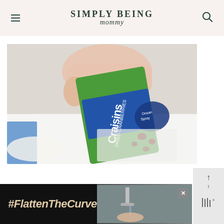SIMPLY BEING mommy
[Figure (photo): A hand holding a Craisins Dried Cranberries snack package (Ocean Spray, Natural flavored) with some cranberries spilled on a white cutting board]
[Figure (photo): Partial view of a blue package at the bottom left]
[Figure (screenshot): Advertisement banner showing #FlattenTheCurve text on dark background with an image of hands washing under faucet, with a close button]
[Figure (other): Right sidebar widget with scroll-up arrow and temperature icon]